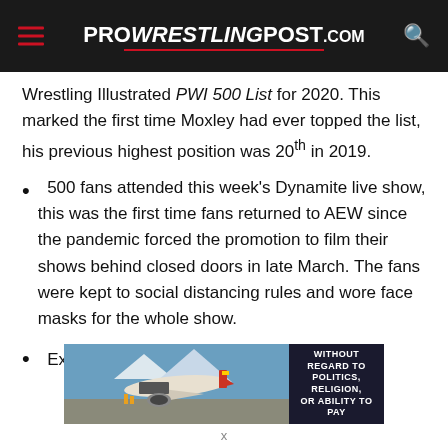ProWrestlingPost.com
Wrestling Illustrated PWI 500 List for 2020. This marked the first time Moxley had ever topped the list, his previous highest position was 20th in 2019.
500 fans attended this week's Dynamite live show, this was the first time fans returned to AEW since the pandemic forced the promotion to film their shows behind closed doors in late March. The fans were kept to social distancing rules and wore face masks for the whole show.
Excalibur is set to return to AEW on July 20th
[Figure (photo): Advertisement banner showing an airplane being loaded with cargo, with text 'WITHOUT REGARD TO POLITICS, RELIGION, OR ABILITY TO PAY']
x